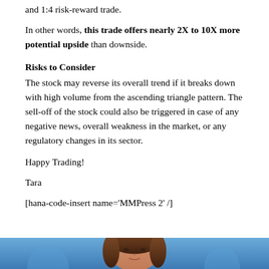and 1:4 risk-reward trade.
In other words, this trade offers nearly 2X to 10X more potential upside than downside.
Risks to Consider
The stock may reverse its overall trend if it breaks down with high volume from the ascending triangle pattern. The sell-off of the stock could also be triggered in case of any negative news, overall weakness in the market, or any regulatory changes in its sector.
Happy Trading!
Tara
[hana-code-insert name='MMPress 2' /]
[Figure (photo): Portrait photo of a person (Tara) against a blue background, cropped at bottom of page]